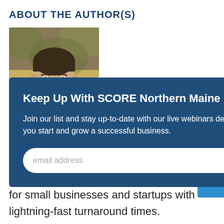ABOUT THE AUTHOR(S)
[Figure (photo): Headshot photo of a young man with dark hair, partially visible, cropped by a modal overlay]
[Figure (screenshot): Modal popup overlay with blue background titled 'Keep Up With SCORE Northern Maine', containing body text, an email input field, and a SUBMIT button]
infographics and animated infographics for small businesses and startups with lightning-fast turnaround times.